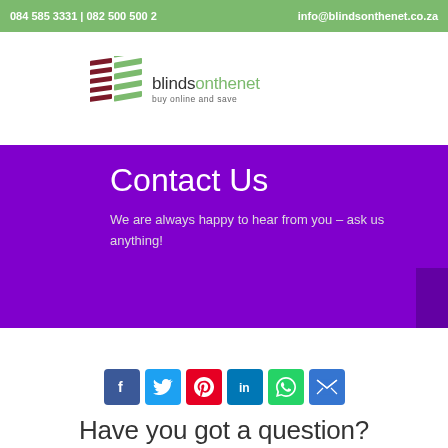084 585 3331 | 082 500 500 2   info@blindsonthenet.co.za
[Figure (logo): Blindsonthenet logo with striped blind icon and tagline 'buy online and save']
Contact Us
We are always happy to hear from you - ask us anything!
[Figure (infographic): Social media share icons: Facebook, Twitter, Pinterest, LinkedIn, WhatsApp, Email]
Have you got a question?